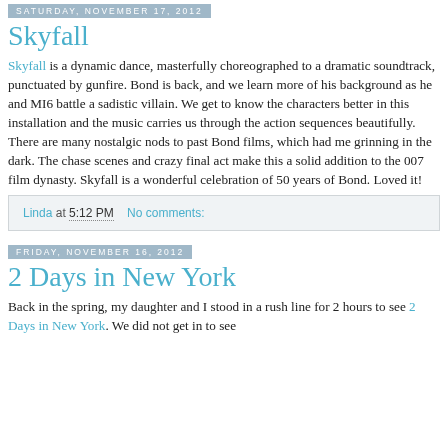Saturday, November 17, 2012
Skyfall
Skyfall is a dynamic dance, masterfully choreographed to a dramatic soundtrack, punctuated by gunfire. Bond is back, and we learn more of his background as he and MI6 battle a sadistic villain. We get to know the characters better in this installation and the music carries us through the action sequences beautifully. There are many nostalgic nods to past Bond films, which had me grinning in the dark. The chase scenes and crazy final act make this a solid addition to the 007 film dynasty. Skyfall is a wonderful celebration of 50 years of Bond. Loved it!
Linda at 5:12 PM    No comments:
Friday, November 16, 2012
2 Days in New York
Back in the spring, my daughter and I stood in a rush line for 2 hours to see 2 Days in New York. We did not get in to see